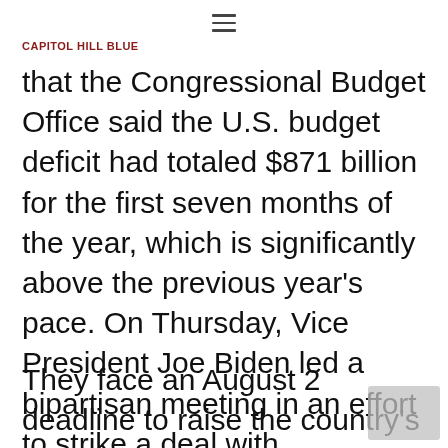CAPITOL HILL BLUE
that the Congressional Budget Office said the U.S. budget deficit had totaled $871 billion for the first seven months of the year, which is significantly above the previous year's pace. On Thursday, Vice President Joe Biden led a bipartisan meeting in an effort to strike a deal with Republicans on cutting the growing federal deficit and averting a default.
They face an August 2 deadline to raise the country's $14.3 trillion debt limit.